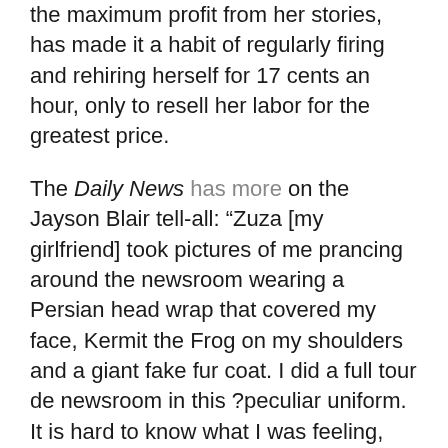the maximum profit from her stories, has made it a habit of regularly firing and rehiring herself for 17 cents an hour, only to resell her labor for the greatest price.
The Daily News has more on the Jayson Blair tell-all: “Zuza [my girlfriend] took pictures of me prancing around the newsroom wearing a Persian head wrap that covered my face, Kermit the Frog on my shoulders and a giant fake fur coat. I did a full tour de newsroom in this ?peculiar uniform. It is hard to know what I was feeling, other than it was exhilarating to shock everyone. Perhaps I was crying out for attention.” Crying out for attention? Nah, Jayce, sounds like you were trying to recall some obscure Polynesiasn ceremony that involved Kermit the Frog. But anyone trying to invent horrible